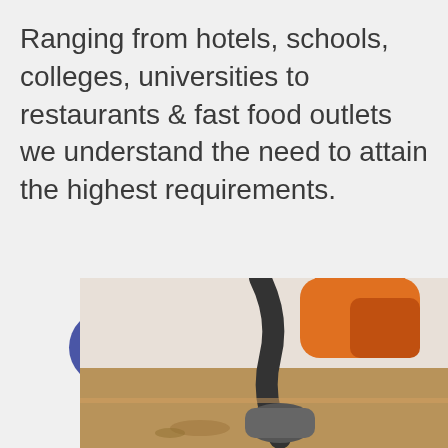Ranging from hotels, schools, colleges, universities to restaurants & fast food outlets we understand the need to attain the highest requirements.
[Figure (other): A blue rounded button with a book icon and the text 'Read More']
[Figure (photo): A photo showing a person in an orange outfit using a vacuum or cleaning equipment on a surface]